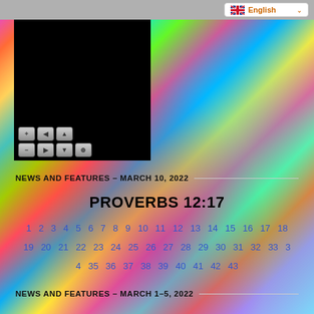[Figure (screenshot): Video player with black screen and playback controls (+ back up / - forward down drag buttons)]
[Figure (screenshot): Language selector showing UK flag and 'English' in orange text with dropdown arrow]
NEWS AND FEATURES – MARCH 10, 2022
PROVERBS 12:17
1 2 3 4 5 6 7 8 9 10 11 12 13 14 15 16 17 18
19 20 21 22 23 24 25 26 27 28 29 30 31 32 33 3
4 35 36 37 38 39 40 41 42 43
NEWS AND FEATURES – MARCH 1–5, 2022